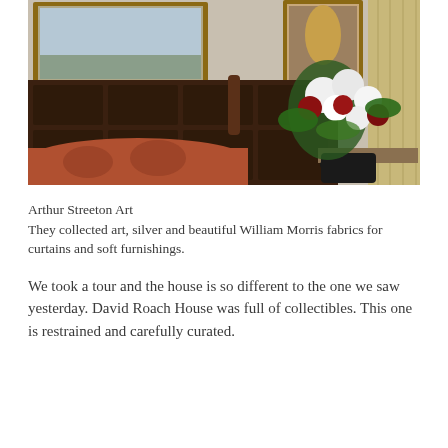[Figure (photo): Interior room photo showing a carved dark wooden bench with a red floral cushion, a large floral arrangement of white and red flowers in a black vase on a table, framed paintings on the walls, and a curtain on the right side.]
Arthur Streeton Art
They collected art, silver and beautiful William Morris fabrics for curtains and soft furnishings.
We took a tour and the house is so different to the one we saw yesterday. David Roach House was full of collectibles. This one is restrained and carefully curated.